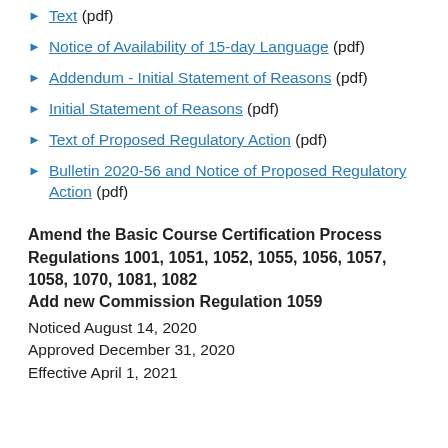Text (pdf)
Notice of Availability of 15-day Language (pdf)
Addendum - Initial Statement of Reasons (pdf)
Initial Statement of Reasons (pdf)
Text of Proposed Regulatory Action (pdf)
Bulletin 2020-56 and Notice of Proposed Regulatory Action (pdf)
Amend the Basic Course Certification Process Regulations 1001, 1051, 1052, 1055, 1056, 1057, 1058, 1070, 1081, 1082
Add new Commission Regulation 1059
Noticed August 14, 2020
Approved December 31, 2020